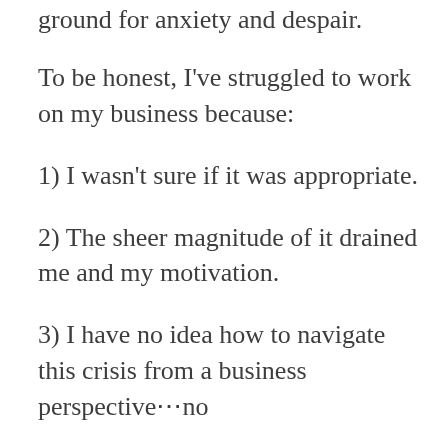ground for anxiety and despair.
To be honest, I've struggled to work on my business because:
1) I wasn't sure if it was appropriate.
2) The sheer magnitude of it drained me and my motivation.
3) I have no idea how to navigate this crisis from a business perspective…no